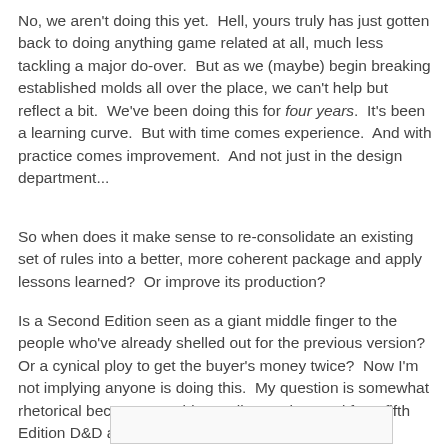No, we aren't doing this yet.  Hell, yours truly has just gotten back to doing anything game related at all, much less tackling a major do-over.  But as we (maybe) begin breaking established molds all over the place, we can't help but reflect a bit.  We've been doing this for four years.  It's been a learning curve.  But with time comes experience.  And with practice comes improvement.  And not just in the design department...
So when does it make sense to re-consolidate an existing set of rules into a better, more coherent package and apply lessons learned?  Or improve its production?
Is a Second Edition seen as a giant middle finger to the people who've already shelled out for the previous version?  Or a cynical ploy to get the buyer's money twice?  Now I'm not implying anyone is doing this.  My question is somewhat rhetorical because I could actually see the need for a fifth Edition D&D after the badly contrived 4th....
[Figure (other): Partial image box visible at the bottom of the page, mostly cut off]